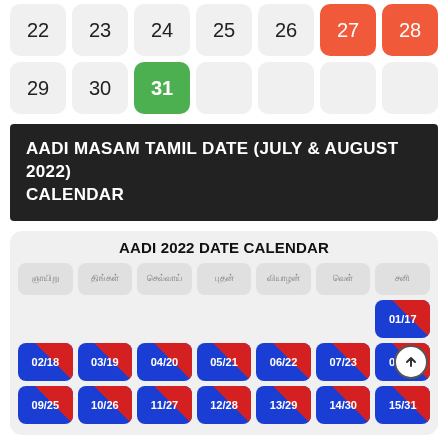| 22 | 23 | 24 | 25 | 26 | 27 | 28 |
| --- | --- | --- | --- | --- | --- | --- |
| 29 | 30 | 31 |  |  |  |  |
AADI MASAM TAMIL DATE (JULY & AUGUST 2022) CALENDAR
| ஞாயிறு | திங்கள் | செவ்வாய் | புதன் | வியாழன் | வெள் | சனி |
| --- | --- | --- | --- | --- | --- | --- |
|  |  |  |  |  |  | 01/17 |
| 02/18 | 03/19 | 04/20 | 05/21 | 06/22 | 07/23 | 08/24 |
| 09/25 | 10/26 | 11/27 | 12/28 | 13/29 | 14/30 | 15/31 |